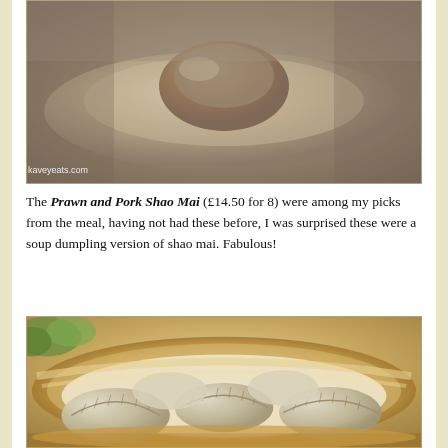[Figure (photo): Close-up photo of a soup dumpling (shao mai) on a spoon, with watermark 'kaveyeats.com' in bottom left corner]
The Prawn and Pork Shao Mai (£14.50 for 8) were among my picks from the meal, having not had these before, I was surprised these were a soup dumpling version of shao mai. Fabulous!
[Figure (photo): Close-up photo of multiple dumplings arranged in a bamboo steamer basket, with green vegetables visible in background]